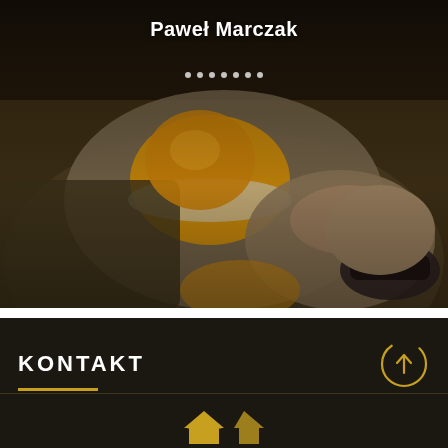[Figure (photo): Close-up photo of worker hands wearing yellow and grey work gloves holding a power tool/grinder, dark muted tones with olive/brown background]
Paweł Marczak
KONTAKT
[Figure (infographic): Two small golden house/arrow icons at the bottom of dark section]